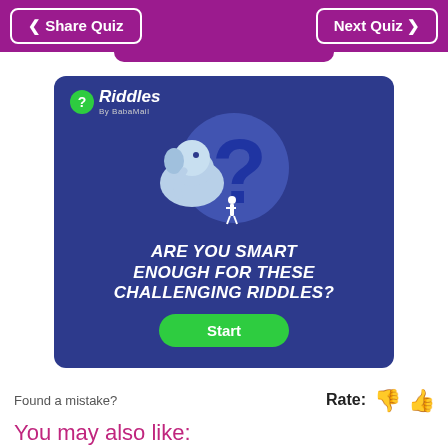< Share Quiz   Next Quiz >
[Figure (illustration): Advertisement banner for 'Riddles by BabaMail' on a dark blue background. Shows an elephant and question mark illustration with text 'ARE YOU SMART ENOUGH FOR THESE CHALLENGING RIDDLES?' and a green Start button.]
Found a mistake?
Rate:
You may also like: